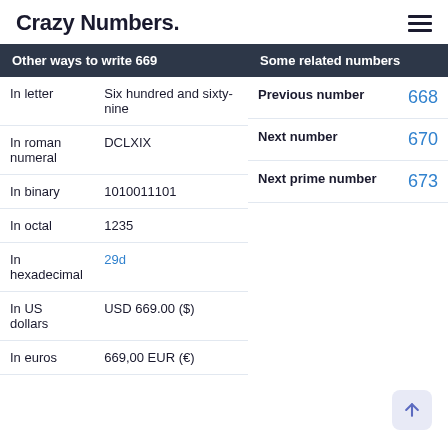Crazy Numbers.
|  | Other ways to write 669 |
| --- | --- |
| In letter | Six hundred and sixty-nine |
| In roman numeral | DCLXIX |
| In binary | 1010011101 |
| In octal | 1235 |
| In hexadecimal | 29d |
| In US dollars | USD 669.00 ($) |
| In euros | 669,00 EUR (€) |
| Some related numbers |  |
| --- | --- |
| Previous number | 668 |
| Next number | 670 |
| Next prime number | 673 |